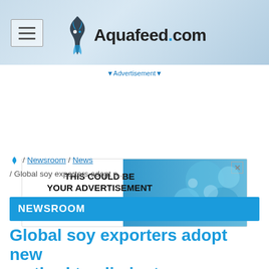[Figure (logo): Aquafeed.com website header with fish logo, hamburger menu icon, and site name in bold text on a light blue gradient background]
▼Advertisement▼
[Figure (other): Advertisement banner reading THIS COULD BE YOUR ADVERTISEMENT with Find out how button and blue bubble graphic on right side]
/ Newsroom / News / Global soy exporters adopt n...
NEWSROOM
Global soy exporters adopt new method to eliminate